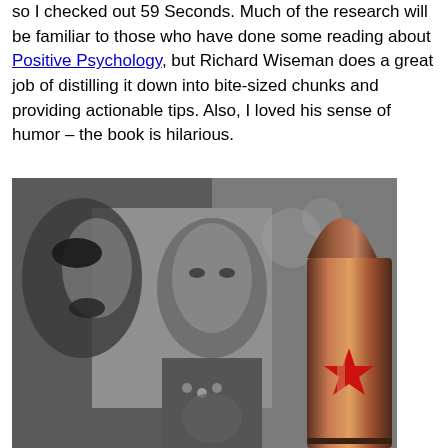so I checked out 59 Seconds. Much of the research will be familiar to those who have done some reading about Positive Psychology, but Richard Wiseman does a great job of distilling it down into bite-sized chunks and providing actionable tips. Also, I loved his sense of humor – the book is hilarious.
[Figure (photo): A collage image showing grayscale faces of political figures on the left side, overlaid with a photorealistic brown bullet/projectile with a red star on the right side.]